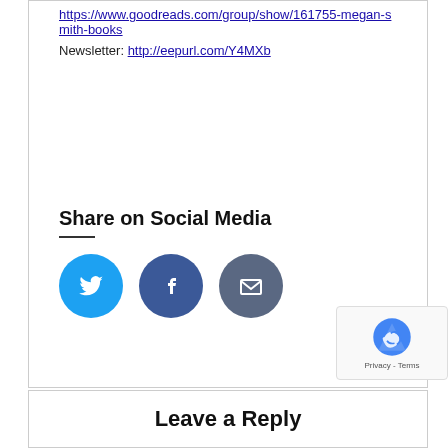https://www.goodreads.com/group/show/161755-megan-smith-books
Newsletter: http://eepurl.com/Y4MXb
Share on Social Media
[Figure (infographic): Three social media share buttons: Twitter (blue bird icon), Facebook (dark blue F icon), Email (dark blue-grey envelope icon)]
Leave a Reply